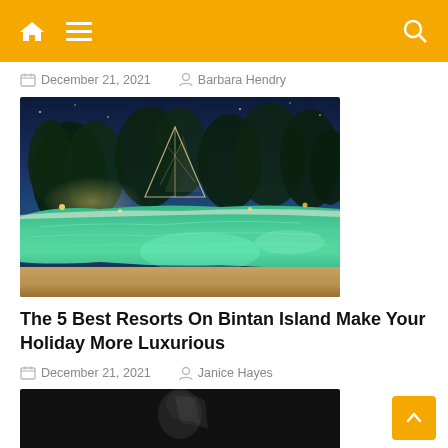Navigation bar with home, menu, and search icons
December 21, 2021   Barbara Hendry
[Figure (photo): Night-time resort pool photo with illuminated tropical gardens, palm trees, a glass pyramid structure, and a turquoise swimming pool at Bintan Island resort]
The 5 Best Resorts On Bintan Island Make Your Holiday More Luxurious
December 21, 2021   Janice Hayes
[Figure (photo): Partially visible portrait photo, dark background, person visible from shoulders up]